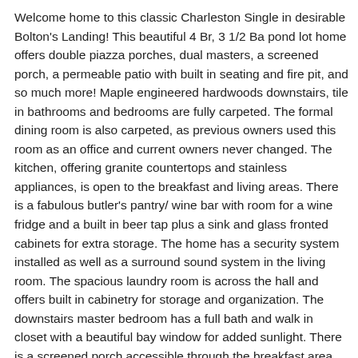Welcome home to this classic Charleston Single in desirable Bolton's Landing! This beautiful 4 Br, 3 1/2 Ba pond lot home offers double piazza porches, dual masters, a screened porch, a permeable patio with built in seating and fire pit, and so much more! Maple engineered hardwoods downstairs, tile in bathrooms and bedrooms are fully carpeted. The formal dining room is also carpeted, as previous owners used this room as an office and current owners never changed. The kitchen, offering granite countertops and stainless appliances, is open to the breakfast and living areas. There is a fabulous butler's pantry/ wine bar with room for a wine fridge and a built in beer tap plus a sink and glass fronted cabinets for extra storage. The home has a security system installed as well as a surround sound system in the living room. The spacious laundry room is across the hall and offers built in cabinetry for storage and organization. The downstairs master bedroom has a full bath and walk in closet with a beautiful bay window for added sunlight. There is a screened porch accessible through the breakfast area that overlooks the fenced backyard and pond. The two car detached garage is just steps away. So